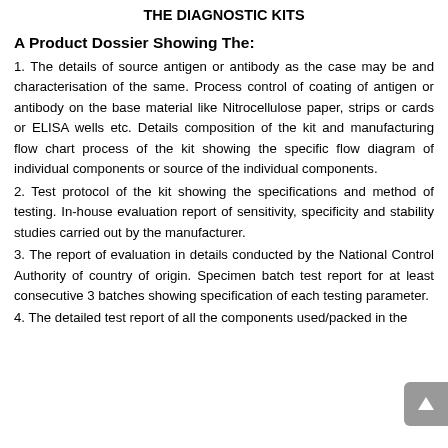THE DIAGNOSTIC KITS
A Product Dossier Showing The:
1. The details of source antigen or antibody as the case may be and characterisation of the same. Process control of coating of antigen or antibody on the base material like Nitrocellulose paper, strips or cards or ELISA wells etc. Details composition of the kit and manufacturing flow chart process of the kit showing the specific flow diagram of individual components or source of the individual components.
2. Test protocol of the kit showing the specifications and method of testing. In-house evaluation report of sensitivity, specificity and stability studies carried out by the manufacturer.
3. The report of evaluation in details conducted by the National Control Authority of country of origin. Specimen batch test report for at least consecutive 3 batches showing specification of each testing parameter.
4. The detailed test report of all the components used/packed in the